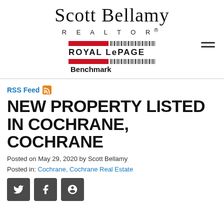Scott Bellamy REALTOR®
[Figure (logo): Royal LePage Benchmark logo with red bar and barcode graphic elements]
RSS Feed
NEW PROPERTY LISTED IN COCHRANE, COCHRANE
Posted on May 29, 2020 by Scott Bellamy
Posted in: Cochrane, Cochrane Real Estate
[Figure (other): Social media share buttons for Twitter, Facebook, and Pinterest]